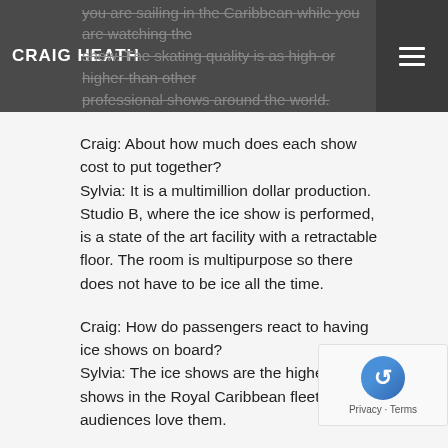CRAIG HEATH
you are sailing in the Caribbean while you are watching the show. The skating quality is as high-or higher-than other professional shows around the world.
Craig: About how much does each show cost to put together?
Sylvia: It is a multimillion dollar production. Studio B, where the ice show is performed, is a state of the art facility with a retractable floor. The room is multipurpose so there does not have to be ice all the time.
Craig: How do passengers react to having ice shows on board?
Sylvia: The ice shows are the highest rated shows in the Royal Caribbean fleet. The audiences love them.
Craig: What is the biggest challenge about having an ice show on a cruise ship for you?
Sylvia: Maintaining the high quality of performers as well as finding the right personalities because of the small cast (10 skaters) and the close living quarters.
Craig: Does any other cruise line have an ice rink on board any of their ships?
Sylvia: Royal Caribbean is the only one. They took a big financial